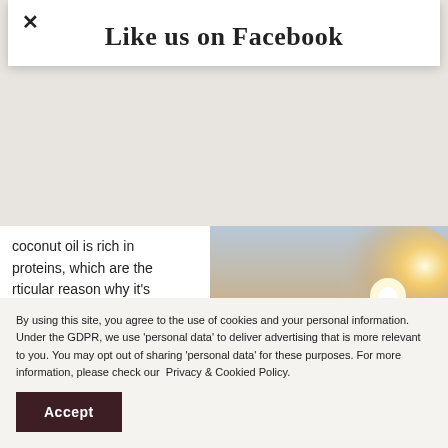Like us on Facebook
coconut oil is rich in proteins, which are the rticular reason why it's beneficial for the hair – eplaces the proteins ht damaged hair looks
[Figure (photo): Woman with long blonde hair blowing in wind, backlit by warm sunset light, viewed from behind]
Reviews
By using this site, you agree to the use of cookies and your personal information. Under the GDPR, we use 'personal data' to deliver advertising that is more relevant to you. You may opt out of sharing 'personal data' for these purposes. For more information, please check our  Privacy & Cookied Policy.
Accept